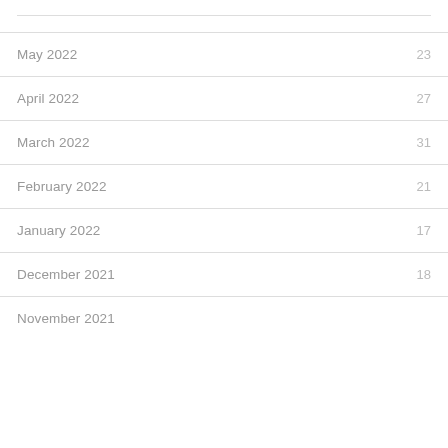May 2022    23
April 2022    27
March 2022    31
February 2022    21
January 2022    17
December 2021    18
November 2021    31